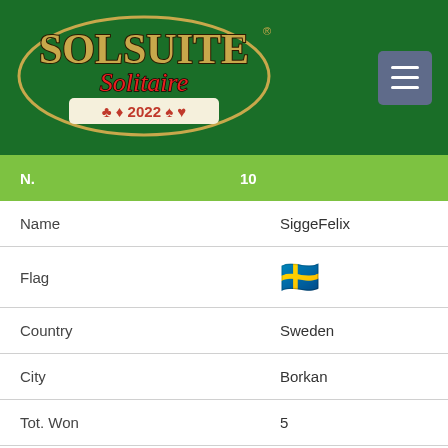[Figure (logo): SolSuite Solitaire 2022 logo with card suit symbols on dark green background]
| N. | 10 |
| --- | --- |
| Name | SiggeFelix |
| Flag | 🇸🇪 |
| Country | Sweden |
| City | Borkan |
| Tot. Won | 5 |
| Ver. | 10.8 |